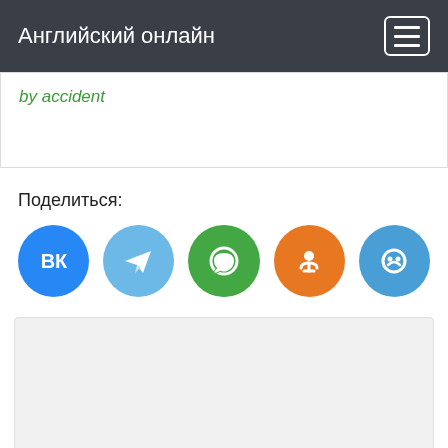Английский онлайн
by accident
Поделиться:
[Figure (infographic): Five social media share buttons as colored circles: VK (blue), Telegram (light blue), WhatsApp (green), Odnoklassniki (orange), Moi Mir (medium blue)]
[Figure (other): Empty grey advertisement/content box]